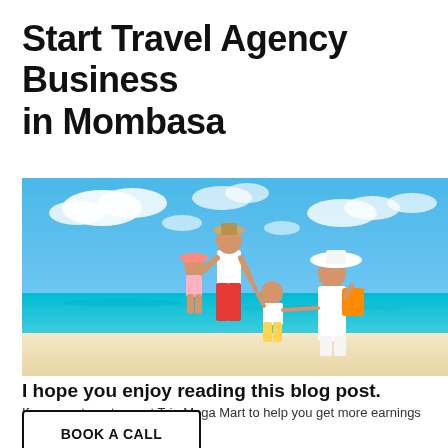Start Travel Agency Business in Mombasa
[Figure (photo): A family of four (man, woman, and two children) walking on a tropical beach with clear blue sky and turquoise ocean. The adults wear hats and summer clothing. Man in white shirt and red shorts, woman in white dress with large hat and straw bag.]
I hope you enjoy reading this blog post.
If you want our team at Trip Mega Mart to help you get more earnings
BOOK A CALL